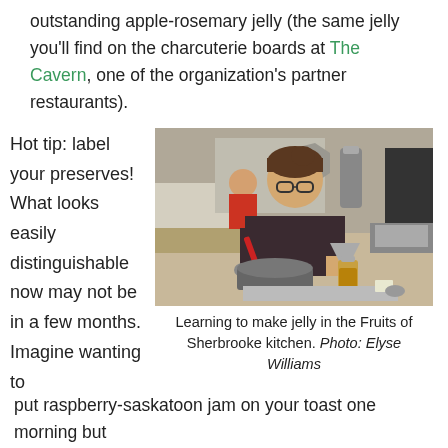outstanding apple-rosemary jelly (the same jelly you'll find on the charcuterie boards at The Cavern, one of the organization's partner restaurants).
Hot tip: label your preserves! What looks easily distinguishable now may not be in a few months. Imagine wanting to
[Figure (photo): A person making jelly in a kitchen, pouring liquid through a funnel into a jar using a ladle from a large pot. Kitchen equipment and another person visible in background.]
Learning to make jelly in the Fruits of Sherbrooke kitchen. Photo: Elyse Williams
put raspberry-saskatoon jam on your toast one morning but